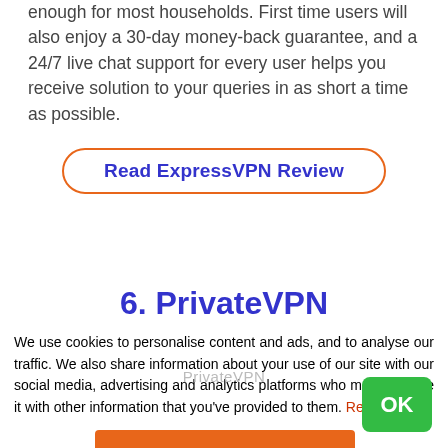enough for most households. First time users will also enjoy a 30-day money-back guarantee, and a 24/7 live chat support for every user helps you receive solution to your queries in as short a time as possible.
Read ExpressVPN Review
6. PrivateVPN
We use cookies to personalise content and ads, and to analyse our traffic. We also share information about your use of our site with our social media, advertising and analytics platforms who may combine it with other information that you've provided to them. Read More
PrivateVPN
OK